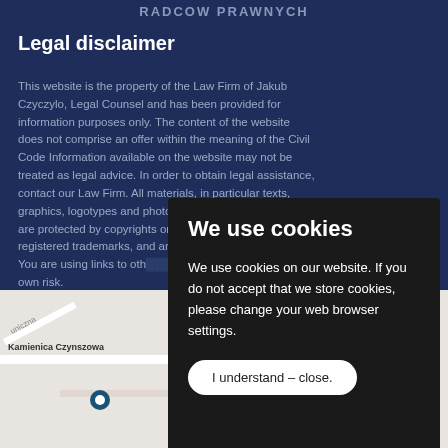RADCOW PRAWNYCH
Legal disclaimer
This website is the property of the Law Firm of Jakub Czyczylo, Legal Counsel and has been provided for information purposes only. The content of the website does not comprise an offer within the meaning of the Civil Code Information available on the website may not be treated as legal advice. In order to obtain legal assistance, contact our Law Firm. All materials, in particular texts, graphics, logotypes and photos available on this website, are protected by copyrights or protection rights under registered trademarks, and are subject to ownership rights. You are using links to oth... own risk.
[Figure (screenshot): Cookie consent modal overlay with dark background showing 'We use cookies' heading, explanatory text, and 'I understand – close.' button]
[Figure (map): Google Maps partial view showing Kamienica Czynszowa street area with map pin location marker, plac Teatralny label visible]